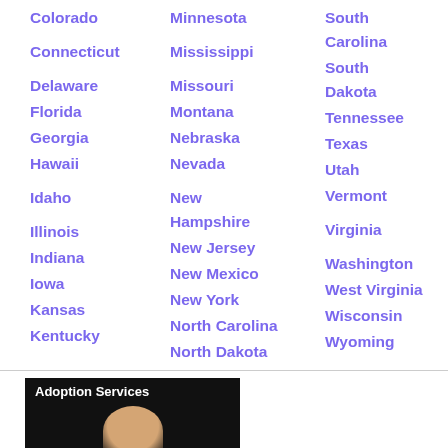Colorado
Minnesota
South Carolina
Connecticut
Mississippi
South Dakota
Delaware
Missouri
Tennessee
Florida
Montana
Texas
Georgia
Nebraska
Utah
Hawaii
Nevada
Vermont
Idaho
New Hampshire
Virginia
Illinois
New Jersey
Washington
Indiana
New Mexico
West Virginia
Iowa
New York
Wisconsin
Kansas
North Carolina
Wyoming
Kentucky
North Dakota
[Figure (photo): Adoption Services section header with a photo of a person below it on a dark background]